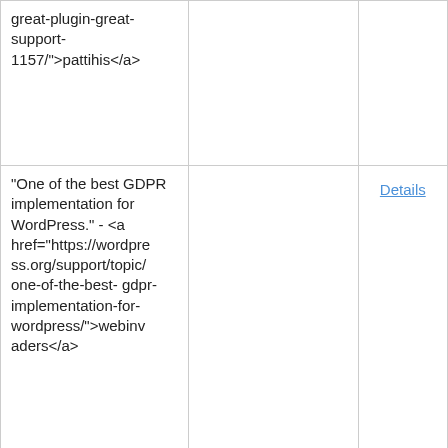| Original | Translation | Actions |
| --- | --- | --- |
| great-plugin-great-support-1157/">pattihis</a> |  | Details |
| "One of the best GDPR implementation for WordPress." - <a href="https://wordpress.org/support/topic/one-of-the-best-gdpr-implementation-for-wordpress/">webinvaders</a> | You have to log in to add a translation. | Details |
| "The only free GDPR plugin that actually works." - <a href="https://wordpre | You have to log in to | Details |